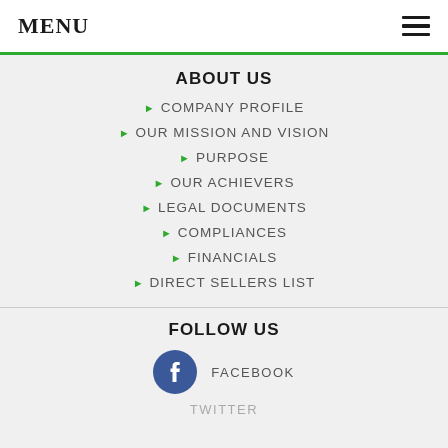MENU
ABOUT US
COMPANY PROFILE
OUR MISSION AND VISION
PURPOSE
OUR ACHIEVERS
LEGAL DOCUMENTS
COMPLIANCES
FINANCIALS
DIRECT SELLERS LIST
FOLLOW US
FACEBOOK
TWITTER